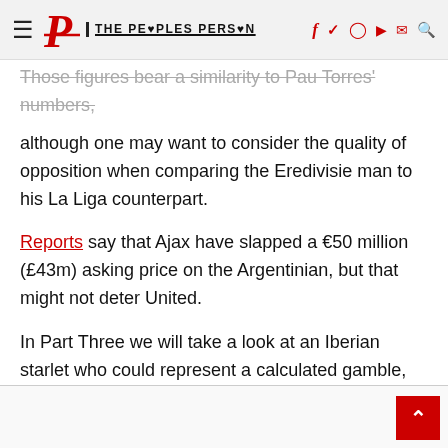The Peoples Person
Those figures bear a similarity to Pau Torres' numbers, although one may want to consider the quality of opposition when comparing the Eredivisie man to his La Liga counterpart.
Reports say that Ajax have slapped a €50 million (£43m) asking price on the Argentinian, but that might not deter United.
In Part Three we will take a look at an Iberian starlet who could represent a calculated gamble, before wrapping up the series.